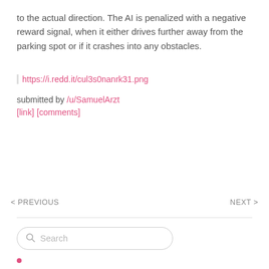to the actual direction. The AI is penalized with a negative reward signal, when it either drives further away from the parking spot or if it crashes into any obstacles.
https://i.redd.it/cul3s0nanrk31.png
submitted by /u/SamuelArzt
[link] [comments]
< PREVIOUS    NEXT >
Search